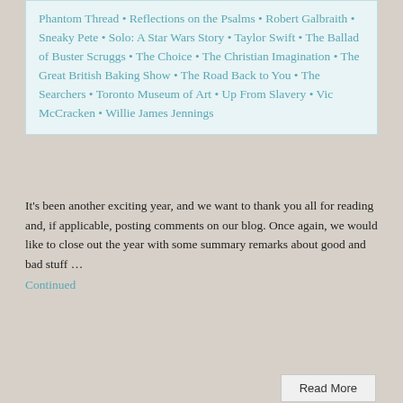Phantom Thread • Reflections on the Psalms • Robert Galbraith • Sneaky Pete • Solo: A Star Wars Story • Taylor Swift • The Ballad of Buster Scruggs • The Choice • The Christian Imagination • The Great British Baking Show • The Road Back to You • The Searchers • Toronto Museum of Art • Up From Slavery • Vic McCracken • Willie James Jennings
It's been another exciting year, and we want to thank you all for reading and, if applicable, posting comments on our blog. Once again, we would like to close out the year with some summary remarks about good and bad stuff … Continued
The Best and Worst of 2012
POSTED: January 4, 2013
AUTHOR: Jim Spiegel